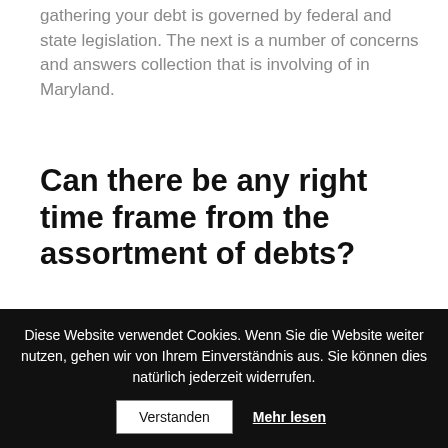gathering your debt is governed by federal and state legislation. The next is a number of concerns and answers collection that is involving of in Maryland.
Can there be any right time frame from the assortment of debts?
Yes. You will find time restrictions regulating whenever a creditor can sue you for the financial obligation. These laws and regulations are
Diese Website verwendet Cookies. Wenn Sie die Website weiter nutzen, gehen wir von Ihrem Einverständnis aus. Sie können dies natürlich jederzeit widerrufen.
Verstanden
Mehr lesen